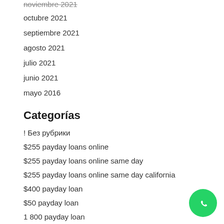noviembre 2021
octubre 2021
septiembre 2021
agosto 2021
julio 2021
junio 2021
mayo 2016
Categorías
! Без рубрики
$255 payday loans online
$255 payday loans online same day
$255 payday loans online same day california
$400 payday loan
$50 payday loan
1 800 payday loan